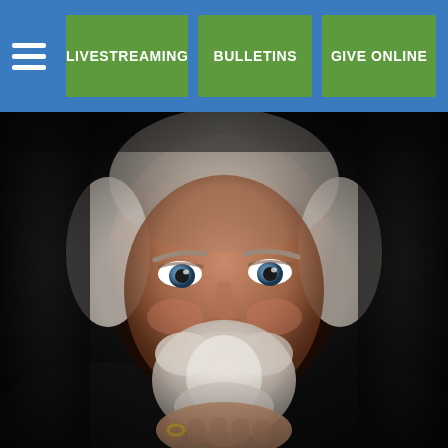LIVESTREAMING | BULLETINS | GIVE ONLINE
[Figure (photo): Close-up portrait of an older man with white hair and a white beard, blue eyes, resting his chin on his clasped hands (wearing a gold ring), against a dark background. Professional headshot style lighting.]